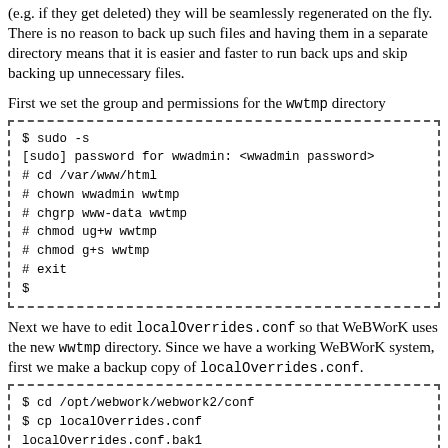(e.g. if they get deleted) they will be seamlessly regenerated on the fly. There is no reason to back up such files and having them in a separate directory means that it is easier and faster to run back ups and skip backing up unnecessary files.
First we set the group and permissions for the wwtmp directory
$ sudo -s
[sudo] password for wwadmin: <wwadmin password>
# cd /var/www/html
# chown wwadmin wwtmp
# chgrp www-data wwtmp
# chmod ug+w wwtmp
# chmod g+s wwtmp
# exit
$
Next we have to edit localOverrides.conf so that WeBWorK uses the new wwtmp directory. Since we have a working WeBWorK system, first we make a backup copy of localOverrides.conf.
$ cd /opt/webwork/webwork2/conf
$ cp localOverrides.conf
localOverrides.conf.bak1